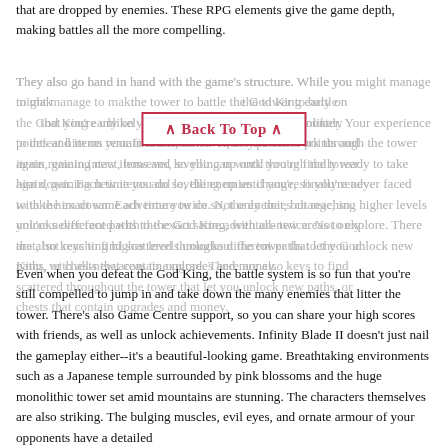that are dropped by enemies. These RPG elements give the game depth, making battles all the more compelling.
They also go hand in hand with the game's structure. While you might manage to make your way up the tower to battle the God King early on, you'll quickly find that you're unlikely to defeat him on your first encounter. Your experience points and items remain intact, however, so you can work through the tower again, gaining new items and levelling up until you're finally ready to take him down. Each time you do so, the enemies change, so you're never faced with the exact same adventure twice. Not only that, but reaching higher levels unlocks different paths to the God King, with all-new areas to explore. There are also keys to find scattered throughout the tower that let you unlock new paths, or chests that contain upgrades and money.
Even when you defeat the God King, the battle system is so fun that you're still compelled to jump in and take down the many enemies that litter the tower. There's also Game Centre support, so you can share your high scores with friends, as well as unlock achievements. Infinity Blade II doesn't just nail the gameplay either--it's a beautiful-looking game. Breathtaking environments such as a Japanese temple surrounded by pink blossoms and the huge monolithic tower set amid mountains are stunning. The characters themselves are also striking. The bulging muscles, evil eyes, and ornate armour of your opponents have a detailed